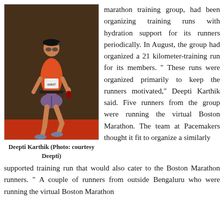[Figure (photo): Woman runner in orange tank top and shorts with race bib number 42027, running on a red track surface. She wears a black cap and a hydration belt.]
Deepti Karthik (Photo: courtesy Deepti)
marathon training group, had been organizing training runs with hydration support for its runners periodically. In August, the group had organized a 21 kilometer-training run for its members. “ These runs were organized primarily to keep the runners motivated,” Deepti Karthik said. Five runners from the group were running the virtual Boston Marathon. The team at Pacemakers thought it fit to organize a similarly supported training run that would also cater to the Boston Marathon runners. “ A couple of runners from outside Bengaluru who were running the virtual Boston Marathon